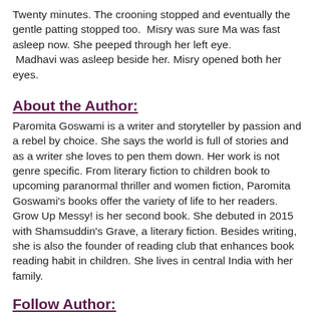Twenty minutes. The crooning stopped and eventually the gentle patting stopped too.  Misry was sure Ma was fast asleep now. She peeped through her left eye.
 Madhavi was asleep beside her. Misry opened both her eyes.
About the Author:
Paromita Goswami is a writer and storyteller by passion and a rebel by choice. She says the world is full of stories and as a writer she loves to pen them down. Her work is not genre specific. From literary fiction to children book to upcoming paranormal thriller and women fiction, Paromita Goswami's books offer the variety of life to her readers. Grow Up Messy! is her second book. She debuted in 2015 with Shamsuddin's Grave, a literary fiction. Besides writing, she is also the founder of reading club that enhances book reading habit in children. She lives in central India with her family.
Follow Author:
Website * Facebook * Twitter * Goodreads